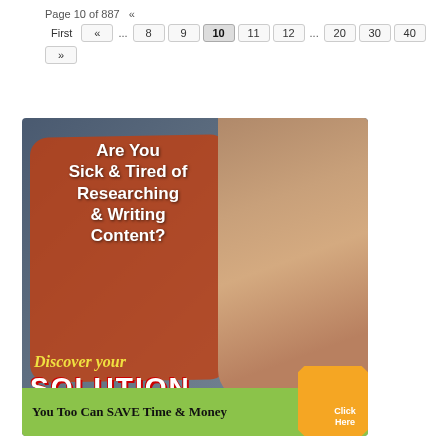Page 10 of 887  «
First  «  ...  8  9  10  11  12  ...  20  30  40  »
[Figure (illustration): Advertisement banner showing an angry woman screaming, with text overlay: 'Are You Sick & Tired of Researching & Writing Content? Discover your SOLUTION. You Too Can SAVE Time & Money. Click Here.']